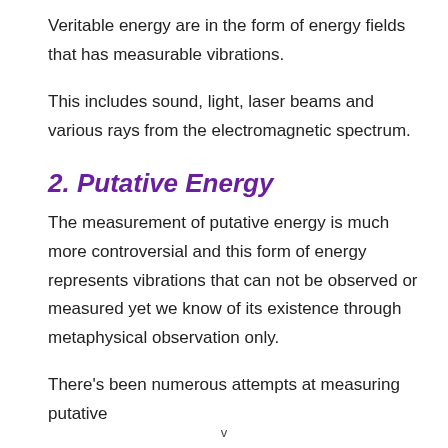Veritable energy are in the form of energy fields that has measurable vibrations.
This includes sound, light, laser beams and various rays from the electromagnetic spectrum.
2. Putative Energy
The measurement of putative energy is much more controversial and this form of energy represents vibrations that can not be observed or measured yet we know of its existence through metaphysical observation only.
There’s been numerous attempts at measuring putative
v